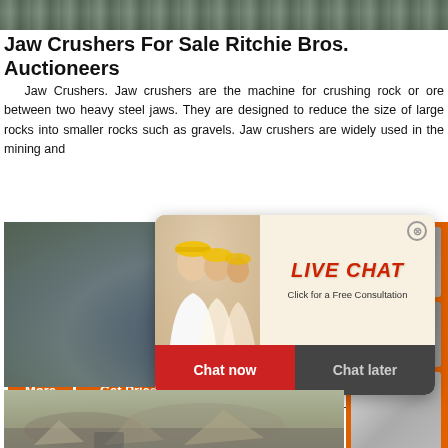[Figure (photo): Top banner image of crusher machinery]
Jaw Crushers For Sale Ritchie Bros. Auctioneers
Jaw Crushers. Jaw crushers are the machine for crushing rock or ore between two heavy steel jaws. They are designed to reduce the size of large rocks into smaller rocks such as gravels. Jaw crushers are widely used in the mining and
[Figure (screenshot): Orange 'More' and 'Get Price' buttons on the left, and 'Email contact' box on the right]
[Figure (photo): Photo of a mobile jaw crusher machine on the left side]
[Figure (photo): Right orange panel with crusher machine product images and 'Enjoy 3% discount', 'Click to Chat', 'Enquiry' buttons]
[Figure (screenshot): Live Chat popup overlay with worker photo, LIVE CHAT heading, 'Click for a Free Consultation', 'Chat now' and 'Chat later' buttons]
[Figure (photo): Bottom quarry/mining site image]